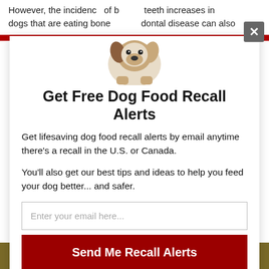However, the incidence of broken teeth increases in dogs that are eating bones. Periodontal disease can also
[Figure (photo): A Jack Russell Terrier puppy peering over a white surface, popup modal context]
Get Free Dog Food Recall Alerts
Get lifesaving dog food recall alerts by email anytime there's a recall in the U.S. or Canada.
You'll also get our best tips and ideas to help you feed your dog better... and safer.
Enter your email here...
Send Me Recall Alerts
No spam ever. Unsubscribe anytime.
Recall Alerts